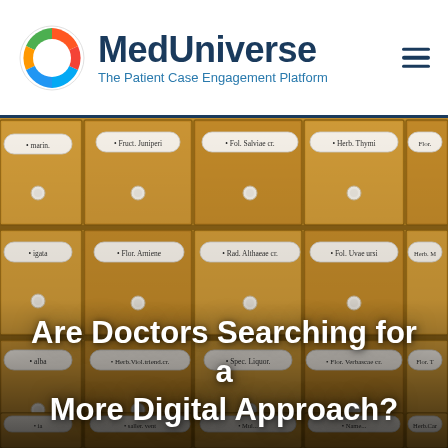MedUniverse — The Patient Case Engagement Platform
[Figure (photo): Vintage wooden pharmacy drawer cabinet with white porcelain knobs and labeled compartments (Fruct. Juniperi, Fol. Salviae cr., Herb. Thymi, Flor. Arniene, Rad. Althaeae cr., Fol. Uvae ursi, Herb. Viol. triend. cr., Spec. Liquor., Flor. Verbascae cr., etc.)]
Are Doctors Searching for a More Digital Approach?